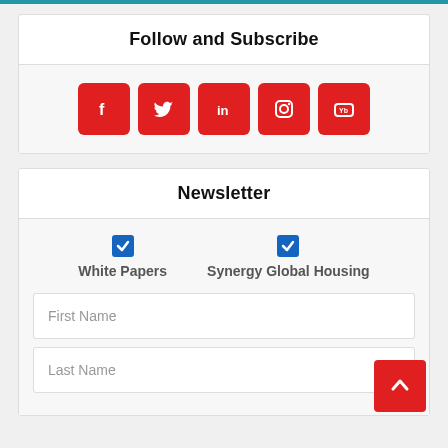Follow and Subscribe
[Figure (illustration): Five red square social media icons: Facebook (f), Twitter (bird), LinkedIn (in), Instagram (camera), YouTube (play button)]
Newsletter
[Figure (illustration): Two blue checkboxes labeled 'White Papers' and 'Synergy Global Housing']
First Name
Last Name